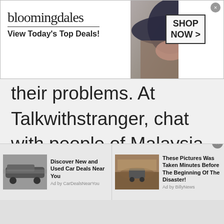[Figure (screenshot): Bloomingdale's advertisement banner: logo text 'bloomingdales' with tagline 'View Today's Top Deals!', a model wearing a wide-brim hat, and a 'SHOP NOW >' call-to-action button with close X.]
their problems. At Talkwithstranger, chat with people of Malaysia will keep you light and fresh. Go ahead! Enjoy the perks of a free chatroom. It's on your fingertips at Talkwithstranger.
[Figure (screenshot): Bottom ad bar with two ads: 1) Car image with text 'Discover New and Used Car Deals Near You' Ad by CarDealsNearYou; 2) Flood/SUV image with text 'These Pictures Was Taken Minutes Before The Beginning Of The Disaster!' Ad by BillyNews. Close X button at top right.]